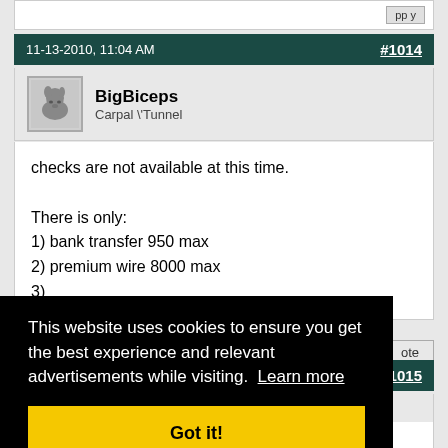11-13-2010, 11:04 AM  #1014
BigBiceps
Carpal \'Tunnel
checks are not available at this time.

There is only:
1) bank transfer 950 max
2) premium wire 8000 max
3) [truncated]
#1015
This website uses cookies to ensure you get the best experience and relevant advertisements while visiting. Learn more
Got it!